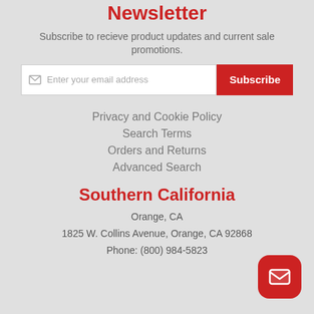Newsletter
Subscribe to recieve product updates and current sale promotions.
[Figure (other): Email input field with placeholder 'Enter your email address' and a red Subscribe button]
Privacy and Cookie Policy
Search Terms
Orders and Returns
Advanced Search
Southern California
Orange, CA
1825 W. Collins Avenue, Orange, CA 92868
Phone: (800) 984-5823
[Figure (other): Red rounded square button with white envelope/mail icon (floating action button)]